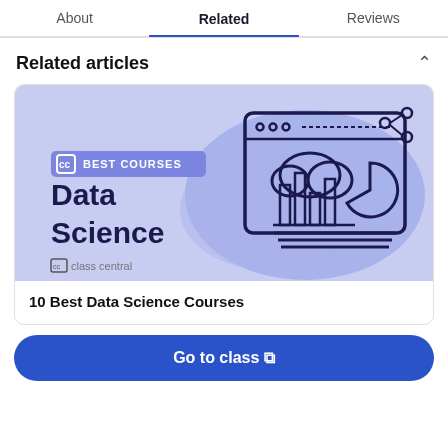About | Related | Reviews
Related articles
[Figure (illustration): Card image with light purple/lavender background showing 'BEST COURSES Data Science' text on the left with a CC (class central) badge, and on the right a line-art illustration of a browser/laptop with bar charts, pie chart, cloud, and network nodes. Class central logo at bottom left.]
10 Best Data Science Courses
Go to class ↗